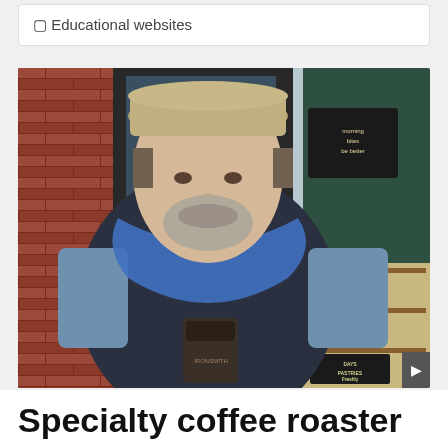◻ Educational websites
[Figure (photo): Man wearing a khaki cap, blue scarf, dark puffer vest, and plaid shirt, holding a takeaway coffee cup, standing outside a coffee shop with brick walls and a green interior visible through the glass door. A wooden display shelf with baked goods is visible on the right side.]
Specialty coffee roaster